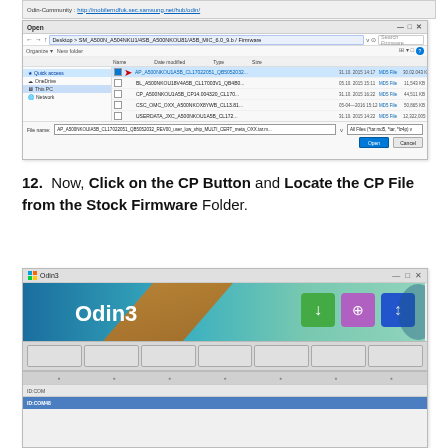[Figure (screenshot): Top strip showing Odin-Community link]
[Figure (screenshot): Windows Open file dialog showing firmware files with AP file highlighted by red arrow]
12. Now, Click on the CP Button and Locate the CP File from the Stock Firmware Folder.
[Figure (screenshot): Odin3 application window showing header banner with Odin3 logo, button panel, and status bar with ID:COM indicator]